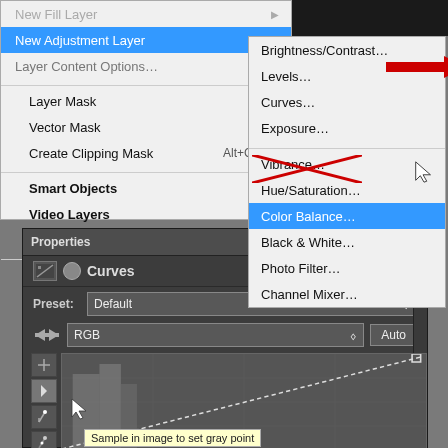[Figure (screenshot): Photoshop Layer menu showing New Adjustment Layer submenu expanded with options including Brightness/Contrast, Levels, Curves (with red arrow pointing to it), Exposure, Vibrance, Hue/Saturation, Color Balance (highlighted in blue with red X), Black & White, Photo Filter, Channel Mixer. Main menu shows New Fill Layer, New Adjustment Layer (highlighted), Layer Content Options, Layer Mask, Vector Mask, Create Clipping Mask, Smart Objects, Video Layers, Rasterize, New Layer Based Slice.]
[Figure (screenshot): Photoshop Properties panel showing Curves adjustment. Panel has header with Properties title and navigation arrows. Inside: Curves label with adjustment icons, Preset dropdown set to Default, RGB channel dropdown with Auto button, curves graph area showing histogram and diagonal line, and a tooltip reading 'Sample in image to set gray point' near the eyedropper tool buttons on the left.]